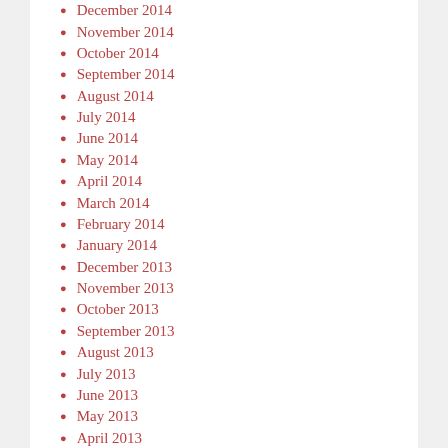December 2014
November 2014
October 2014
September 2014
August 2014
July 2014
June 2014
May 2014
April 2014
March 2014
February 2014
January 2014
December 2013
November 2013
October 2013
September 2013
August 2013
July 2013
June 2013
May 2013
April 2013
March 2013
February 2013
January 2013
December 2012
November 2012
October 2012
September 2012